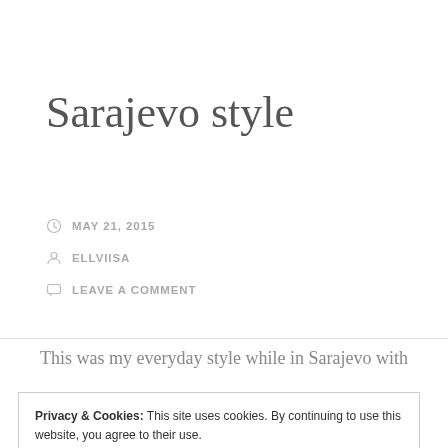Sarajevo style
MAY 21, 2015
ELLVIISA
LEAVE A COMMENT
This was my everyday style while in Sarajevo with
Privacy & Cookies: This site uses cookies. By continuing to use this website, you agree to their use. To find out more, including how to control cookies, see here: Cookie Policy
Close and accept